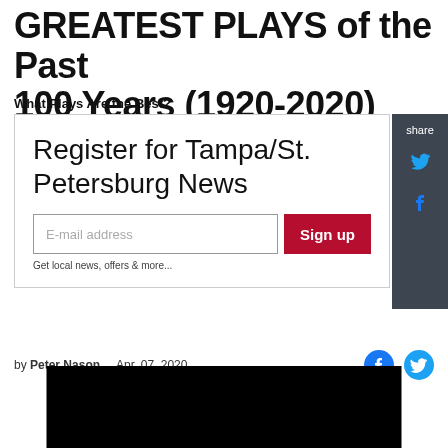GREATEST PLAYS of the Past 100 Years (1920-2020)
What Plays Are the Best?
[Figure (screenshot): Newsletter signup box: 'Register for Tampa/St. Petersburg News' with email input and red Sign up button, plus share sidebar with Twitter and Facebook icons]
by Peter Nason   Apr. 07, 2020
[Figure (screenshot): Black video thumbnail at bottom of page]